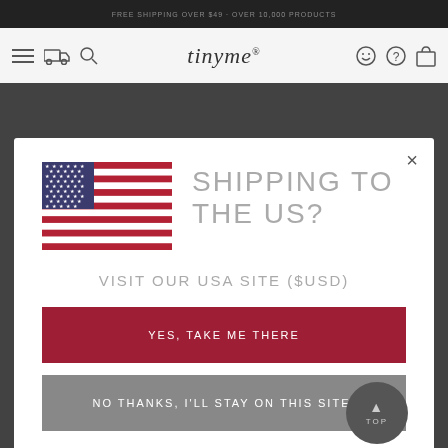tinyme
[Figure (screenshot): Modal popup on tinyme website asking if user is shipping to the US, with a US flag, heading 'SHIPPING TO THE US?', a link to visit the USA site in USD, a red button 'YES, TAKE ME THERE', and a grey button 'NO THANKS, I'LL STAY ON THIS SITE.']
SHIPPING TO THE US?
VISIT OUR USA SITE ($USD)
YES, TAKE ME THERE
NO THANKS, I'LL STAY ON THIS SITE.